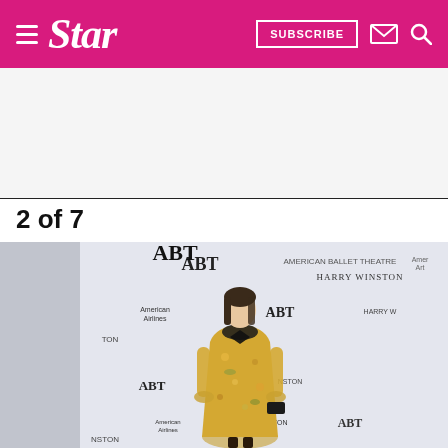Star — SUBSCRIBE
[Figure (photo): White/blank advertisement area below the Star magazine header]
2 of 7
[Figure (photo): Woman in a yellow floral dress with black collar and bow standing on a red carpet with ABT (American Ballet Theatre) step-and-repeat banner featuring Harry Winston and American Airlines logos]